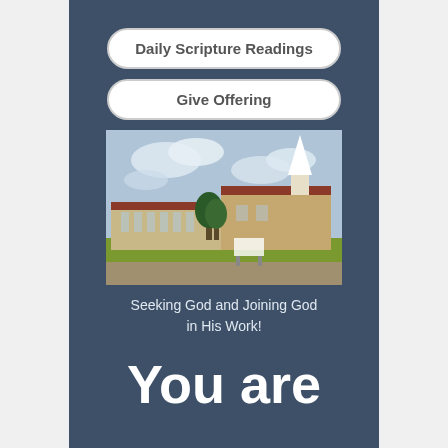Daily Scripture Readings
Give Offering
[Figure (photo): Exterior photo of a church building with a white steeple, brick facade, red roof, trees, and a sign in front, under a cloudy sky with green lawn]
Seeking God and Joining God in His Work!
You are